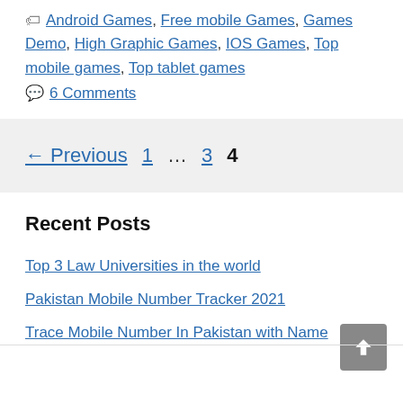Android Games, Free mobile Games, Games Demo, High Graphic Games, IOS Games, Top mobile games, Top tablet games
6 Comments
← Previous  1  …  3  4
Recent Posts
Top 3 Law Universities in the world
Pakistan Mobile Number Tracker 2021
Trace Mobile Number In Pakistan with Name